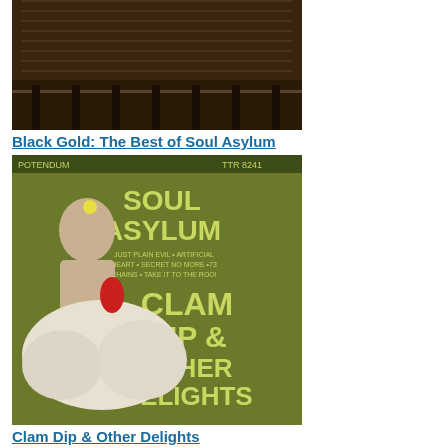[Figure (photo): Album cover for Black Gold: The Best of Soul Asylum - dark brownish image showing what appears to be a floor or surface with industrial/rail elements]
Black Gold: The Best of Soul Asylum
[Figure (photo): Album cover for Clam Dip & Other Delights - green background with a person covered in white substance, holding a flower, with yellow-green text reading SOUL ASYLUM CLAM DIP & OTHER DELIGHTS]
Clam Dip & Other Delights
[Figure (photo): Album cover showing text SOUL ASYLUM in individual letter boxes along a fence or railing, with a figure visible below]